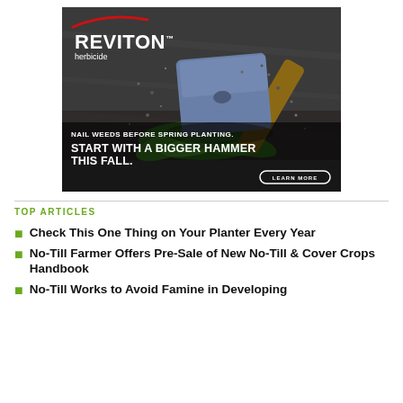[Figure (photo): Advertisement for REVITON herbicide showing a large sledgehammer striking green weed leaves on a stone/concrete surface with debris flying. Text reads: NAIL WEEDS BEFORE SPRING PLANTING. START WITH A BIGGER HAMMER THIS FALL. LEARN MORE button at bottom right. REVITON herbicide logo with red arc at top left.]
TOP ARTICLES
Check This One Thing on Your Planter Every Year
No-Till Farmer Offers Pre-Sale of New No-Till & Cover Crops Handbook
No-Till Works to Avoid Famine in Developing